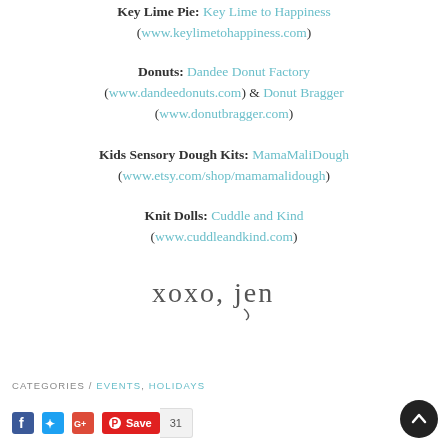Key Lime Pie: Key Lime to Happiness (www.keylimetohappiness.com)
Donuts: Dandee Donut Factory (www.dandeedonuts.com) & Donut Bragger (www.donutbragger.com)
Kids Sensory Dough Kits: MamaMaliDough (www.etsy.com/shop/mamamalidough)
Knit Dolls: Cuddle and Kind (www.cuddleandkind.com)
[Figure (illustration): Handwritten signature reading 'xoxo, jen' in cursive script]
CATEGORIES / EVENTS, HOLIDAYS
Social sharing icons: Facebook, Twitter, Google+, Pinterest Save (31)